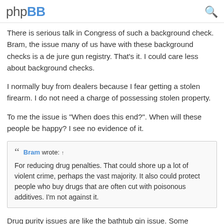phpBB
There is serious talk in Congress of such a background check. Bram, the issue many of us have with these background checks is a de jure gun registry. That's it. I could care less about background checks.
I normally buy from dealers because I fear getting a stolen firearm. I do not need a charge of possessing stolen property.
To me the issue is "When does this end?". When will these people be happy? I see no evidence of it.
Bram wrote: ↑
For reducing drug penalties. That could shore up a lot of violent crime, perhaps the vast majority. It also could protect people who buy drugs that are often cut with poisonous additives. I'm not against it.
Drug purity issues are like the bathtub gin issue. Some bootleggers did not understand the importance of controlling distillation to keep out methanol from the product. People went blind or died. Analogously we have people putting all sorts of shit into drugs to "step on them".
I remember in the Bad Old Days figuring that "drug abusers" deserved to get poisoned or get Paraquat poisoning. Today I consider such thinking